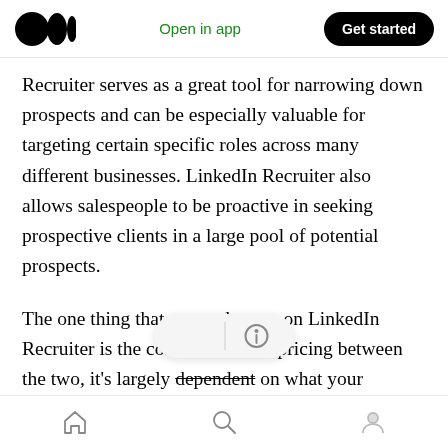Medium logo | Open in app | Get started
Recruiter serves as a great tool for narrowing down prospects and can be especially valuable for targeting certain specific roles across many different businesses. LinkedIn Recruiter also allows salespeople to be proactive in seeking prospective clients in a large pool of potential prospects.
The one thing that puts a damper on LinkedIn Recruiter is the cost. In terms of pricing between the two, it's largely dependent on what your company wants ou[t] and how large the [budget is. For LinkedIn Advertising, the…]
Home | Search | Profile